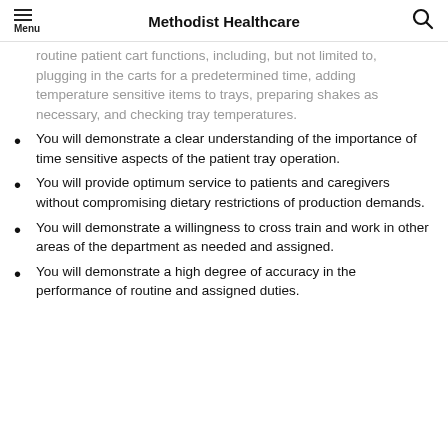Methodist Healthcare
routine patient cart functions, including, but not limited to, plugging in the carts for a predetermined time, adding temperature sensitive items to trays, preparing shakes as necessary, and checking tray temperatures.
You will demonstrate a clear understanding of the importance of time sensitive aspects of the patient tray operation.
You will provide optimum service to patients and caregivers without compromising dietary restrictions of production demands.
You will demonstrate a willingness to cross train and work in other areas of the department as needed and assigned.
You will demonstrate a high degree of accuracy in the performance of routine and assigned duties.